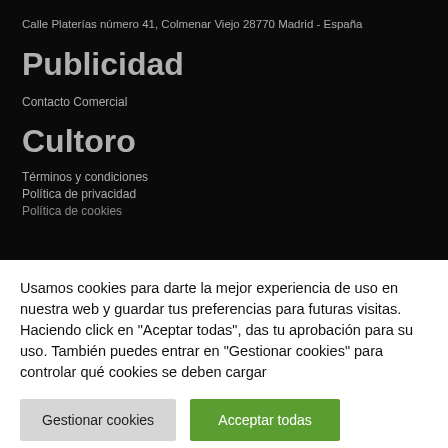Calle Platerías número 41, Colmenar Viejo 28770 Madrid - España
Publicidad
Contacto Comercial
Cultoro
Términos y condiciones
Política de privacidad
Política de cookies
Usamos cookies para darte la mejor experiencia de uso en nuestra web y guardar tus preferencias para futuras visitas. Haciendo click en "Aceptar todas", das tu aprobación para su uso. También puedes entrar en "Gestionar cookies" para controlar qué cookies se deben cargar
Gestionar cookies
Acceptar todas